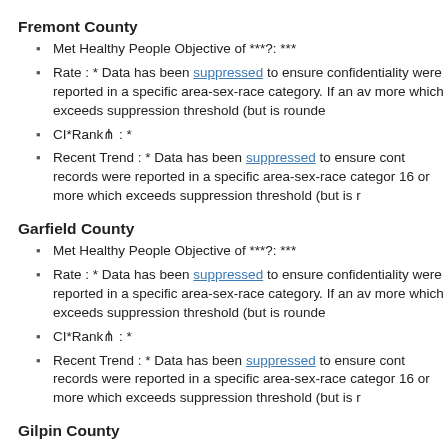Fremont County
Met Healthy People Objective of ***?: ***
Rate : * Data has been suppressed to ensure confidentiality were reported in a specific area-sex-race category. If an av more which exceeds suppression threshold (but is rounde
CI*Rank⋔ : *
Recent Trend : * Data has been suppressed to ensure cont records were reported in a specific area-sex-race categor 16 or more which exceeds suppression threshold (but is r
Garfield County
Met Healthy People Objective of ***?: ***
Rate : * Data has been suppressed to ensure confidentiality were reported in a specific area-sex-race category. If an av more which exceeds suppression threshold (but is rounde
CI*Rank⋔ : *
Recent Trend : * Data has been suppressed to ensure cont records were reported in a specific area-sex-race categor 16 or more which exceeds suppression threshold (but is r
Gilpin County
Met Healthy People Objective of ***?: ***